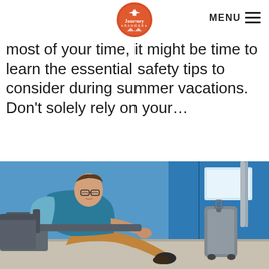Journey Ranger — MENU
most of your time, it might be time to learn the essential safety tips to consider during summer vacations. Don't solely rely on your…
[Figure (photo): A young man sleeping/resting in an airport lounge chair with luggage beside him, wearing a teal shirt and tan pants, with blue airport windows in the background.]